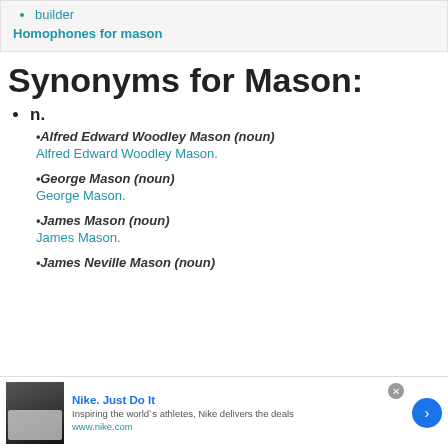builder
Homophones for mason
Synonyms for Mason:
n.
•Alfred Edward Woodley Mason (noun)
Alfred Edward Woodley Mason.
•George Mason (noun)
George Mason.
•James Mason (noun)
James Mason.
•James Neville Mason (noun)
[Figure (screenshot): Nike advertisement banner at bottom of page showing Nike sneaker image, 'Nike. Just Do It' heading, tagline 'Inspiring the world's athletes, Nike delivers the deals', url www.nike.com, close button and arrow button]